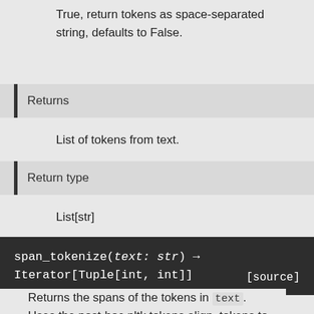True, return tokens as space-separated string, defaults to False.
Returns
List of tokens from text.
Return type
List[str]
span_tokenize(text: str) → Iterator[Tuple[int, int]]   [source]
Returns the spans of the tokens in text. Uses the post-hoc nltk.tokens.align_tokens to return the